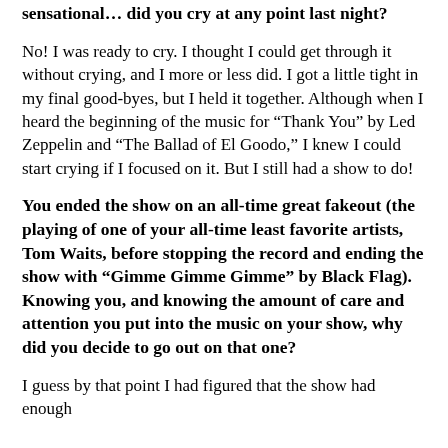sensational… did you cry at any point last night?
No! I was ready to cry. I thought I could get through it without crying, and I more or less did. I got a little tight in my final good-byes, but I held it together. Although when I heard the beginning of the music for “Thank You” by Led Zeppelin and “The Ballad of El Goodo,” I knew I could start crying if I focused on it. But I still had a show to do!
You ended the show on an all-time great fakeout (the playing of one of your all-time least favorite artists, Tom Waits, before stopping the record and ending the show with “Gimme Gimme Gimme” by Black Flag). Knowing you, and knowing the amount of care and attention you put into the music on your show, why did you decide to go out on that one?
I guess by that point I had figured that the show had enough